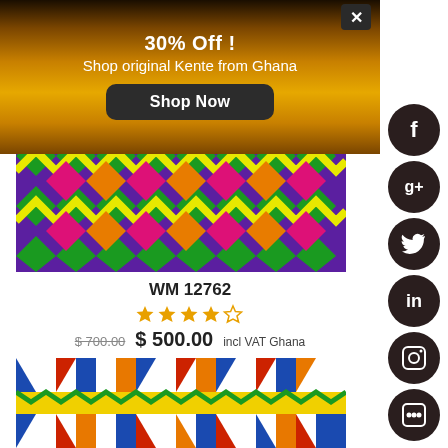[Figure (infographic): Golden/brown gradient banner advertisement for Kente fabric shop with '30% Off!' headline, 'Shop original Kente from Ghana' subtitle, and 'Shop Now' dark button]
30% Off !
Shop original Kente from Ghana
[Figure (photo): Colorful Kente fabric with zigzag pattern in purple, green, yellow, orange and pink colors]
WM 12762
4 out of 5 stars rating
$ 700.00  $ 500.00 incl VAT Ghana
[Figure (photo): Colorful Kente fabric with geometric triangular and diamond patterns in red, white, blue, orange, green and yellow on a yellow stripe background]